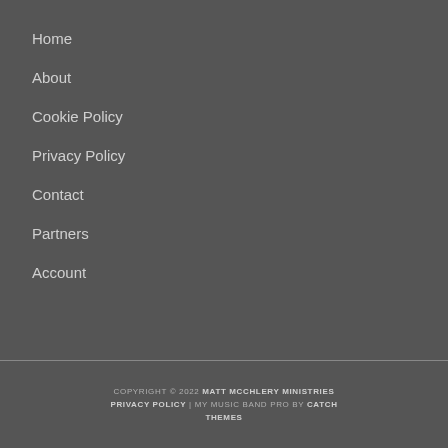Home
About
Cookie Policy
Privacy Policy
Contact
Partners
Account
COPYRIGHT © 2022 MATT MCCHLERY MINISTRIES PRIVACY POLICY | MY MUSIC BAND PRO BY CATCH THEMES